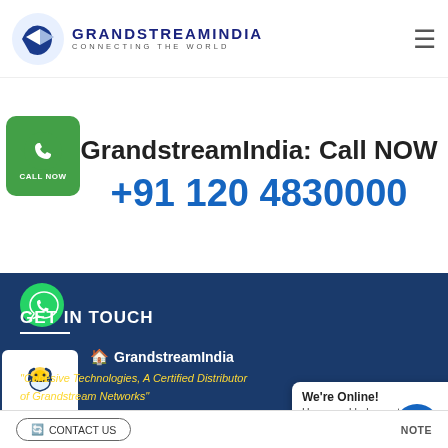GRANDSTREAMINDIA — CONNECTING THE WORLD
GrandstreamIndia: Call NOW +91 120 4830000
[Figure (logo): Green CALL NOW button with phone icon]
[Figure (logo): WhatsApp icon bubble]
GET IN TOUCH
[Figure (illustration): Support agent icon with headset]
GrandstreamIndia
"Cohesive Technologies, A Certified Distributor of Grandstream Networks"
Address:
CS-4, 5 & 6, 4th Floor,
We're Online! How may I help you today?
CONTACT US